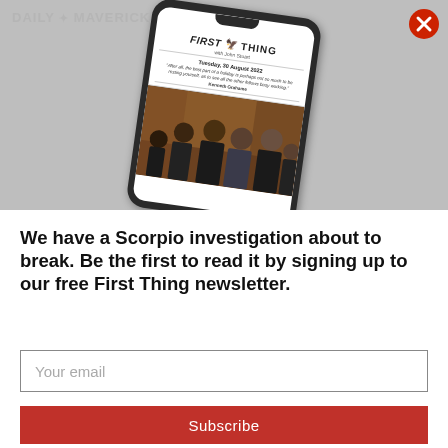[Figure (screenshot): Screenshot of Daily Maverick First Thing newsletter displayed on a smartphone. The phone is tilted at an angle. The newsletter shows Tuesday, 30 August 2022, a quote by Kenneth Grahame about holidays, and a photo of several men in suits standing in what appears to be a formal setting.]
We have a Scorpio investigation about to break. Be the first to read it by signing up to our free First Thing newsletter.
Your email
Subscribe